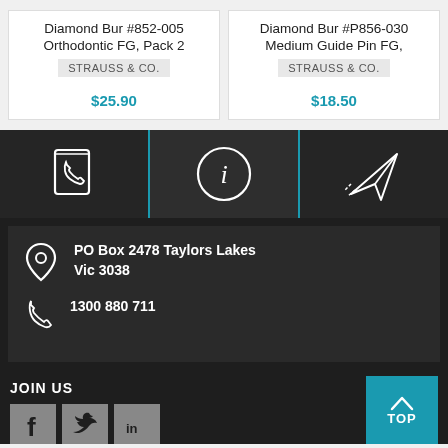Diamond Bur #852-005 Orthodontic FG, Pack 2
STRAUSS & CO.
$25.90
Diamond Bur #P856-030 Medium Guide Pin FG,
STRAUSS & CO.
$18.50
[Figure (infographic): Phone/contact book icon in white outline on dark background]
[Figure (infographic): Information 'i' icon in white circle outline on dark background]
[Figure (infographic): Paper airplane / send icon in white outline on dark background]
PO Box 2478 Taylors Lakes Vic 3038
1300 880 711
JOIN US
[Figure (infographic): Facebook icon on grey background]
[Figure (infographic): Twitter icon on grey background]
[Figure (infographic): LinkedIn icon on grey background]
TOP